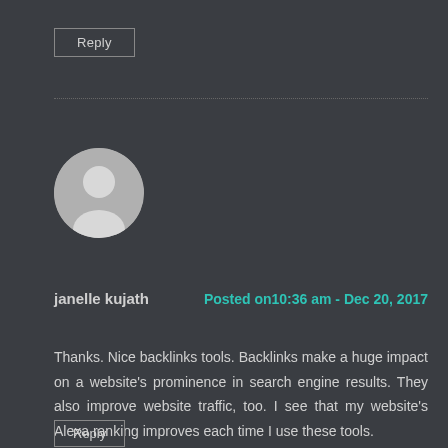Reply
[Figure (illustration): Default user avatar: circular grey silhouette of a person on a lighter grey background]
janelle kujath
Posted on10:36 am - Dec 20, 2017
Thanks. Nice backlinks tools. Backlinks make a huge impact on a website's prominence in search engine results. They also improve website traffic, too. I see that my website's Alexa ranking improves each time I use these tools.
Reply